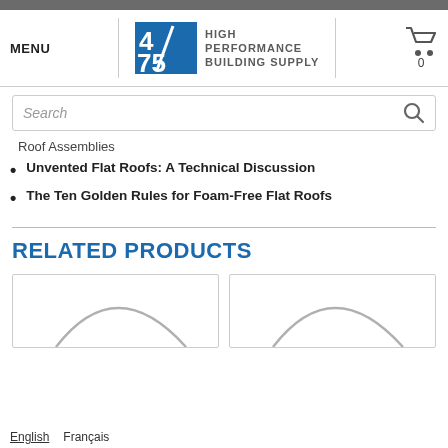[Figure (logo): 475 High Performance Building Supply logo with shopping cart icon and MENU text]
Search
Roof Assemblies
Unvented Flat Roofs: A Technical Discussion
The Ten Golden Rules for Foam-Free Flat Roofs
RELATED PRODUCTS
[Figure (other): Product card with circular arc graphic (left)]
[Figure (other): Product card with circular arc graphic (right)]
English  Français